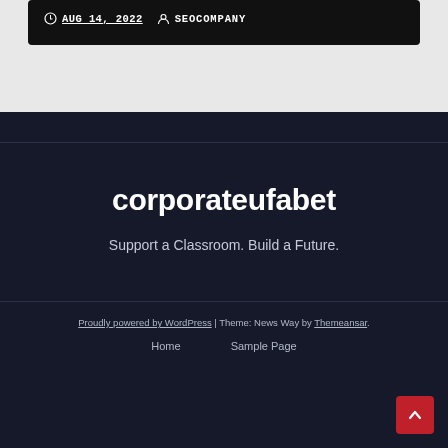AUG 14, 2022  SEOCOMPANY
corporateufabet
Support a Classroom. Build a Future.
Proudly powered by WordPress | Theme: News Way by Themeansar.  Home  Sample Page